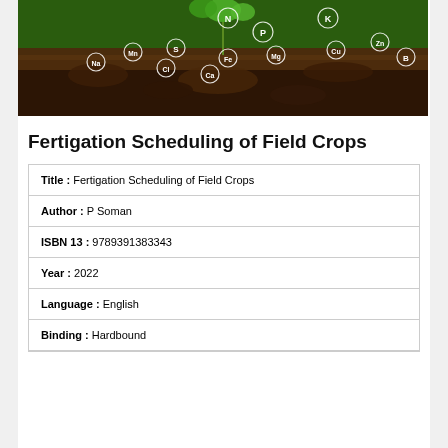[Figure (photo): Photograph of soil with plant seedlings and overlaid element symbols (N, P, K, S, Fe, Mg, Cu, Zn, B, Mn, Cl, Ca, Na)]
Fertigation Scheduling of Field Crops
| Title : | Fertigation Scheduling of Field Crops |
| Author : | P Soman |
| ISBN 13 : | 9789391383343 |
| Year : | 2022 |
| Language : | English |
| Binding : | Hardbound |